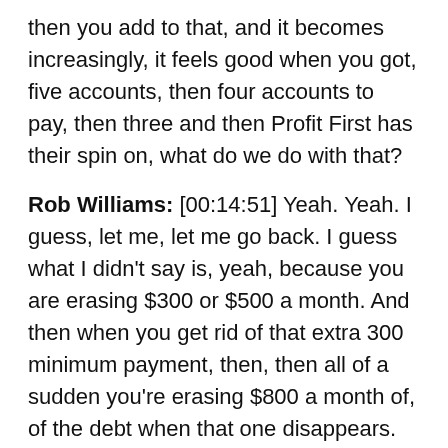then you add to that, and it becomes increasingly, it feels good when you got, five accounts, then four accounts to pay, then three and then Profit First has their spin on, what do we do with that?
Rob Williams: [00:14:51] Yeah. Yeah. I guess, let me, let me go back. I guess what I didn't say is, yeah, because you are erasing $300 or $500 a month. And then when you get rid of that extra 300 minimum payment, then, then all of a sudden you're erasing $800 a month of, of the debt when that one disappears. And then maybe that next one has a thousand dollars minimum payment.
And $800 goes to $1,800 a month that you're erasing. And when you start paying that down on your biggest one first, it doesn't add up that way. So it adds up to less than that 1800. It's not intuitive to me that it works, but just trust us, pay the smallest